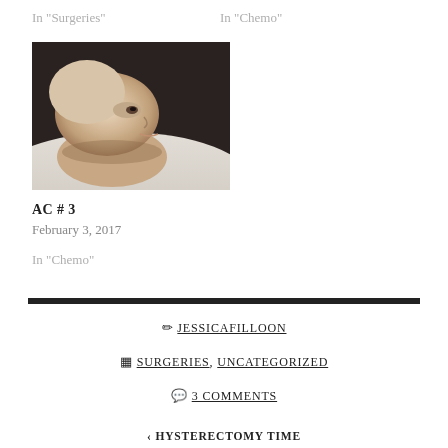In "Surgeries"
In "Chemo"
[Figure (photo): Person lying on pillow, side profile, bald head, resting in dark background]
AC # 3
February 3, 2017
In "Chemo"
✏ JESSICAFILLOON
▦ SURGERIES, UNCATEGORIZED
💬 3 COMMENTS
‹ HYSTERECTOMY TIME